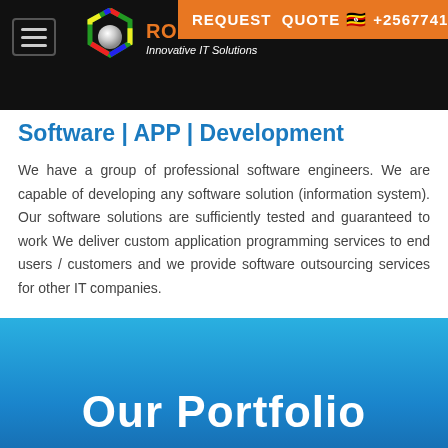ROBLINKS SOLUTIONS | Innovative IT Solutions | REQUEST QUOTE +256774135358
Software | APP | Development
We have a group of professional software engineers. We are capable of developing any software solution (information system). Our software solutions are sufficiently tested and guaranteed to work We deliver custom application programming services to end users / customers and we provide software outsourcing services for other IT companies.
Our Portfolio